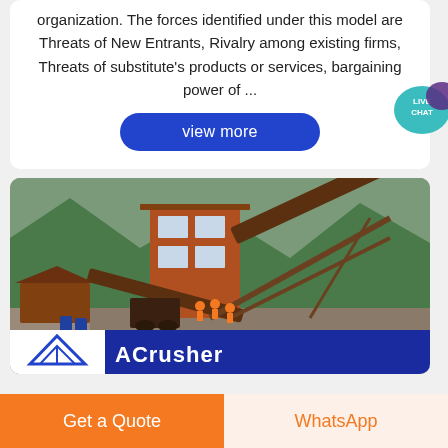organization. The forces identified under this model are Threats of New Entrants, Rivalry among existing firms, Threats of substitute's products or services, bargaining power of ...
[Figure (other): Blue rounded 'view more' button]
[Figure (photo): Industrial mining/crushing equipment with orange structure, conveyor belts, workers in orange vests, mountains and green forest in background. ACrusher branding banner at bottom.]
[Figure (other): Teal live chat speech bubble icon with 'LIVE CHAT' text]
Get a Quote
WhatsApp